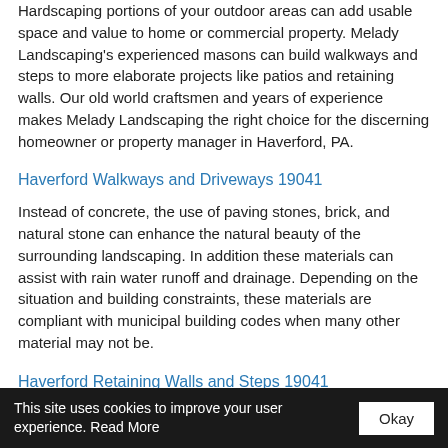Hardscaping portions of your outdoor areas can add usable space and value to home or commercial property. Melady Landscaping's experienced masons can build walkways and steps to more elaborate projects like patios and retaining walls. Our old world craftsmen and years of experience makes Melady Landscaping the right choice for the discerning homeowner or property manager in Haverford, PA.
Haverford Walkways and Driveways 19041
Instead of concrete, the use of paving stones, brick, and natural stone can enhance the natural beauty of the surrounding landscaping. In addition these materials can assist with rain water runoff and drainage. Depending on the situation and building constraints, these materials are compliant with municipal building codes when many other material may not be.
Haverford Retaining Walls and Steps 19041
A beautiful set of steps or the perfect retaining wall levels the playing field between you and the landscape. Its not to often that the land our properties are built on is perfectly level. The use of
This site uses cookies to improve your user experience. Read More  Okay